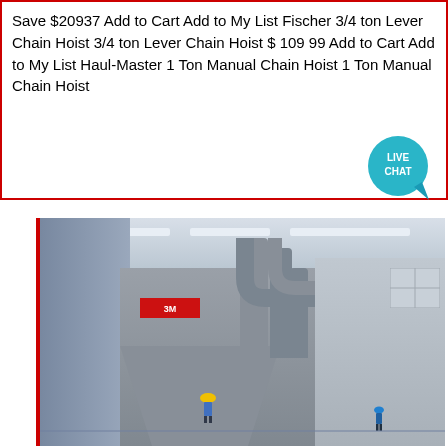Save $20937 Add to Cart Add to My List Fischer 3/4 ton Lever Chain Hoist 3/4 ton Lever Chain Hoist $ 109 99 Add to Cart Add to My List Haul-Master 1 Ton Manual Chain Hoist 1 Ton Manual Chain Hoist
[Figure (illustration): Teal speech bubble icon with text LIVE CHAT]
[Figure (illustration): Blue button/badge with text Sales Online]
[Figure (photo): Industrial facility interior showing large grey machinery, dust collector equipment, pipes and ductwork, with a worker in yellow hard hat visible in the foreground]